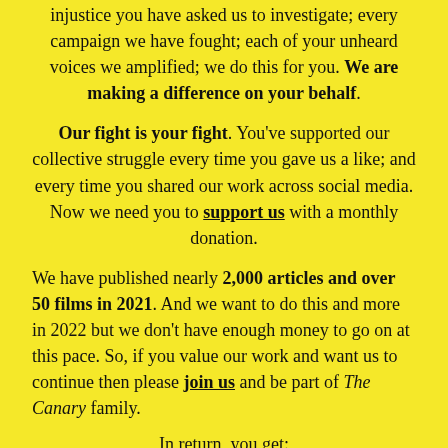injustice you have asked us to investigate; every campaign we have fought; each of your unheard voices we amplified; we do this for you. We are making a difference on your behalf.
Our fight is your fight. You've supported our collective struggle every time you gave us a like; and every time you shared our work across social media. Now we need you to support us with a monthly donation.
We have published nearly 2,000 articles and over 50 films in 2021. And we want to do this and more in 2022 but we don't have enough money to go on at this pace. So, if you value our work and want us to continue then please join us and be part of The Canary family.
In return, you get:
* Advert free reading experience